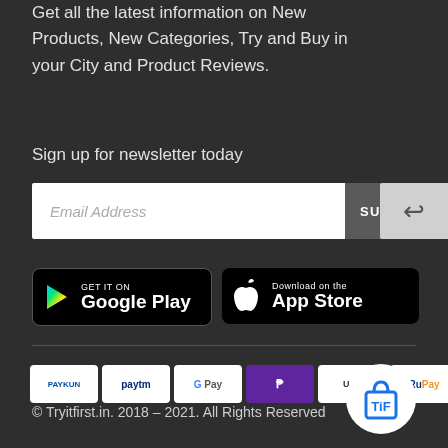Get all the latest information on New Products, New Categories, Try and Buy in your City and Product Reviews.
Sign up for newsletter today
Email Address  SUBSCRIBE
[Figure (screenshot): Google Play Store download button]
[Figure (screenshot): Apple App Store download button]
[Figure (infographic): Payment method logos: PayKun, Paytm, G Pay, PhonePe, UPI, RuPay, Maestro, Visa, Mastercard]
© Tryitfirst.in. 2018 – 2021. All Rights Reserved
[Figure (logo): Tryitfirst.in logo - TiF shopping bag icon in circle]